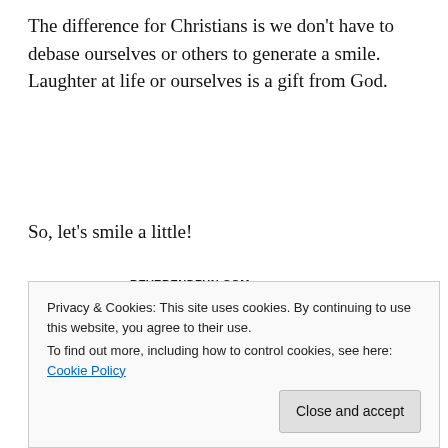The difference for Christians is we don't have to debase ourselves or others to generate a smile. Laughter at life or ourselves is a gift from God.
So, let's smile a little!
[Figure (illustration): A cartoon from ReverendFun.com copyright Bible Gateway showing a classroom scene with students at desks. One boy with curly green hair looks confused in the foreground, a girl with dark hair sits in the middle, a boy with brown hair raises his hand eagerly in the center, and a girl with long blonde hair sits at the right. ABC alphabet cards are visible on the wall in the background.]
Privacy & Cookies: This site uses cookies. By continuing to use this website, you agree to their use.
To find out more, including how to control cookies, see here: Cookie Policy
Close and accept